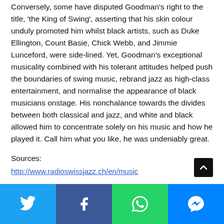Conversely, some have disputed Goodman's right to the title, 'the King of Swing', asserting that his skin colour unduly promoted him whilst black artists, such as Duke Ellington, Count Basie, Chick Webb, and Jimmie Lunceford, were side-lined. Yet, Goodman's exceptional musicality combined with his tolerant attitudes helped push the boundaries of swing music, rebrand jazz as high-class entertainment, and normalise the appearance of black musicians onstage. His nonchalance towards the divides between both classical and jazz, and white and black allowed him to concentrate solely on his music and how he played it. Call him what you like, he was undeniably great.
Sources:
http://www.radioswissjazz.ch/en/music